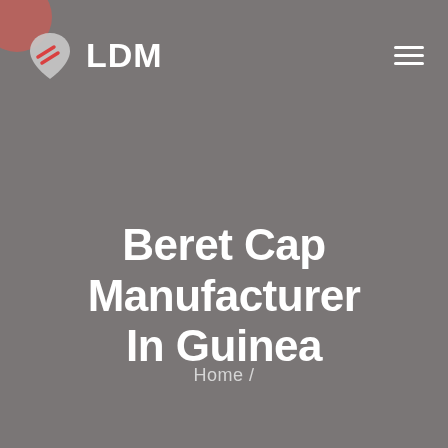[Figure (logo): LDM logo with shield/leaf shaped icon containing two red diagonal lines, and bold white text 'LDM' next to it]
Beret Cap Manufacturer In Guinea
Home /